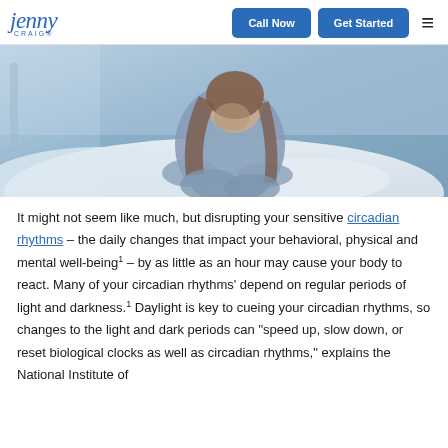Jenny Craig — Call Now | Get Started
[Figure (photo): A woman sitting on a bed holding her stomach, appearing to be in discomfort. She has long hair and is wearing a grey long-sleeve shirt. The background shows a bedroom with soft lighting.]
It might not seem like much, but disrupting your sensitive circadian rhythms – the daily changes that impact your behavioral, physical and mental well-being¹ – by as little as an hour may cause your body to react. Many of your circadian rhythms' depend on regular periods of light and darkness.¹ Daylight is key to cueing your circadian rhythms, so changes to the light and dark periods can "speed up, slow down, or reset biological clocks as well as circadian rhythms," explains the National Institute of